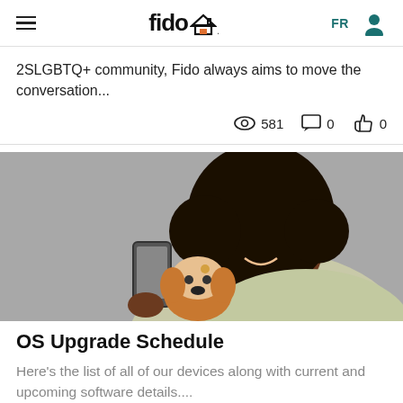fido [home icon]  FR  [user icon]
2SLGBTQ+ community, Fido always aims to move the conversation...
581  0  0
[Figure (photo): Woman with natural afro hair smiling at smartphone, with a Jack Russell Terrier dog beside her, on a grey background]
OS Upgrade Schedule
Here's the list of all of our devices along with current and upcoming software details....